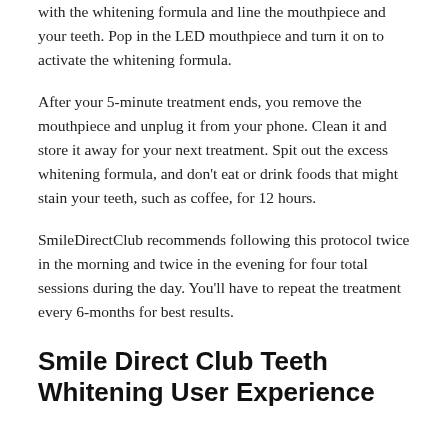with the whitening formula and line the mouthpiece and your teeth. Pop in the LED mouthpiece and turn it on to activate the whitening formula.
After your 5-minute treatment ends, you remove the mouthpiece and unplug it from your phone. Clean it and store it away for your next treatment. Spit out the excess whitening formula, and don't eat or drink foods that might stain your teeth, such as coffee, for 12 hours.
SmileDirectClub recommends following this protocol twice in the morning and twice in the evening for four total sessions during the day. You'll have to repeat the treatment every 6-months for best results.
Smile Direct Club Teeth Whitening User Experience